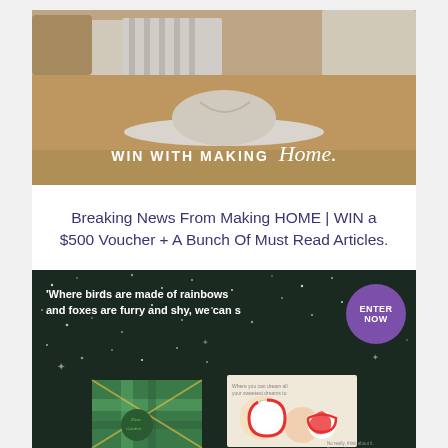[Figure (photo): Hero image of a white hat on a bed with orange and cream textiles, overlaid with text 'WIN WITH MAKING Home.']
Breaking News From Making HOME | WIN a $500 Voucher + A Bunch Of Must Read Articles.
[Figure (photo): Dark background with stars, text quote 'Where birds are made of rainbows and foxes are furry and shy, we can s', purple 'ENTER NOW' badge on right, and book covers at bottom including 'Dear Garden']